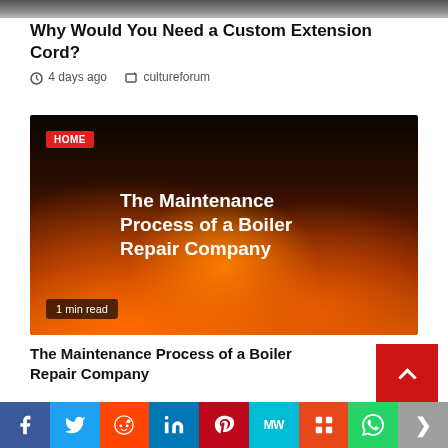[Figure (photo): Top cropped image strip, dark tones]
Why Would You Need a Custom Extension Cord?
4 days ago  cultureforum
[Figure (photo): Fire/flames background image with overlay text 'The Maintenance Process of a Boiler Repair Company', HOME badge top-left, '1 min read' badge bottom-left]
The Maintenance Process of a Boiler Repair Company